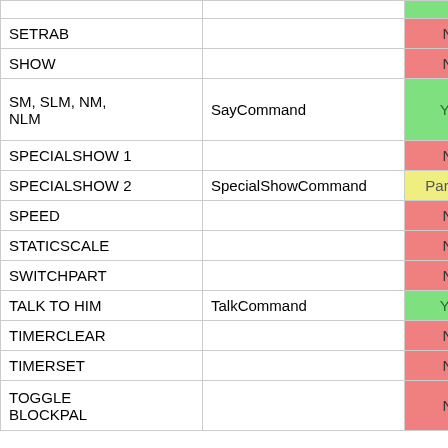| Command | Implementation | Supported |
| --- | --- | --- |
| SETRAB |  | No |
| SHOW |  | No |
| SM, SLM, NM, NLM | SayCommand | Yes |
| SPECIALSHOW 1 |  | No |
| SPECIALSHOW 2 | SpecialShowCommand | Partially |
| SPEED |  | No |
| STATICSCALE |  | No |
| SWITCHPART |  | No |
| TALK TO HIM | TalkCommand | Yes |
| TIMERCLEAR |  | No |
| TIMERSET |  | No |
| TOGGLE BLOCKPAL |  | No |